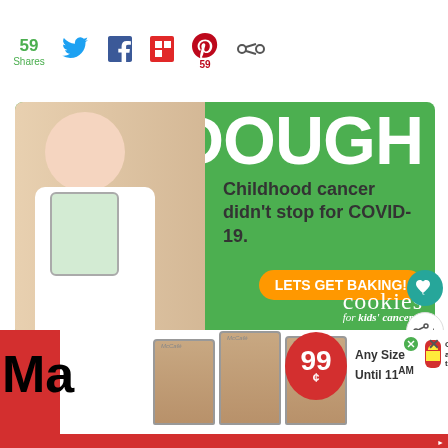59 Shares — social share bar with Twitter, Facebook, Flipboard, Pinterest (59), and additional icon
[Figure (infographic): Cookies for Kids' Cancer advertisement: child holding jar of money, text 'DOUGH', 'Childhood cancer didn't stop for COVID-19.', orange button 'LETS GET BAKING!', 'cookies for kids' cancer' logo on green background]
[Figure (infographic): Right side action buttons: teal heart/like button, share button with plus icon, bar chart icon]
WHAT'S NEXT → Evaporated Milk Recipe
[Figure (infographic): McDonald's McCafé advertisement: three iced coffee drinks, 99¢ price badge, 'Any Size Until 11AM', 'Order ahead on the app', McDonald's logo. Ad close buttons (pin and X icons).]